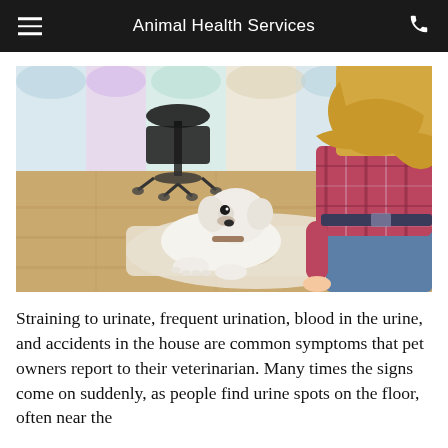Animal Health Services
[Figure (photo): A white Labrador puppy lying on a cream-colored mat on a wooden floor, with a wet spot visible on the mat. A blonde girl in a red plaid shirt and jeans is kneeling beside the puppy. A black chair is visible in the background with colorful curtains.]
Straining to urinate, frequent urination, blood in the urine, and accidents in the house are common symptoms that pet owners report to their veterinarian. Many times the signs come on suddenly, as people find urine spots on the floor, often near the